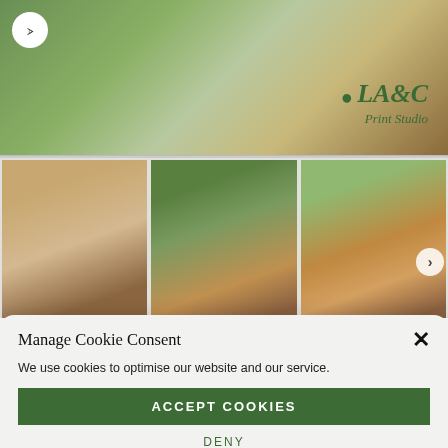[Figure (screenshot): Product images of Highland cow art prints/cards from LA&C Print Studio. Top image shows wood-mounted print with LA&C Print Studio logo. Below are three thumbnail images of greeting cards featuring Highland cow illustrations.]
Manage Cookie Consent
We use cookies to optimise our website and our service.
ACCEPT COOKIES
DENY
VIEW PREFERENCES